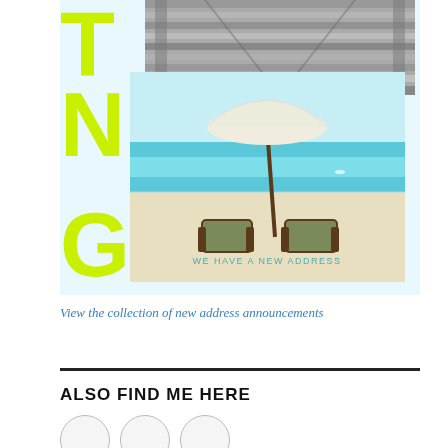[Figure (illustration): Promotional card with light blue background showing partial lime-green letters (T, N, G) on left side, a black-and-white photo of wooden stairs/boardwalk at top right, and a beach photo with two lounge chairs under a white umbrella below. Text 'WE HAVE A NEW ADDRESS' appears at bottom of beach photo.]
View the collection of new address announcements
ALSO FIND ME HERE
[Figure (illustration): Three partially visible circular icons/social media buttons at the bottom of the page.]